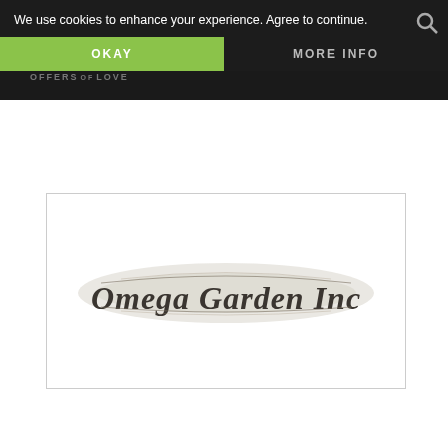We use cookies to enhance your experience. Agree to continue.
OKAY
MORE INFO
OFFERS OF LOVE
[Figure (logo): Omega Garden Inc logo in blackletter/gothic font style with decorative scroll background]